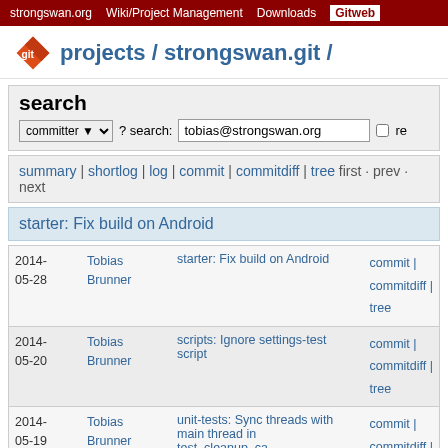strongswan.org  Wiki/Project Management  Downloads  Gitweb
git  projects / strongswan.git /
search
committer ▼  ? search:  tobias@strongswan.org  □ re
summary | shortlog | log | commit | commitdiff | tree  first · prev · next
starter: Fix build on Android
| date | author | commit message | links |
| --- | --- | --- | --- |
| 2014-05-28 | Tobias Brunner | starter: Fix build on Android | commit | commitdiff | tree |
| 2014-05-20 | Tobias Brunner | scripts: Ignore settings-test script | commit | commitdiff | tree |
| 2014-05-19 | Tobias Brunner | unit-tests: Sync threads with main thread in test_cleanup_ca... | commit | commitdiff | tree |
| 2014- | Tobias | pfkey: Always include stdint.h | commit | |